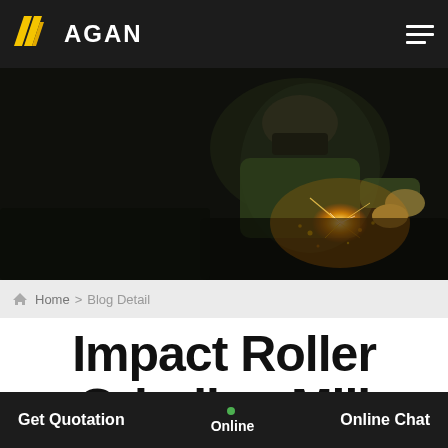ALAGAN — navigation header with logo and hamburger menu
[Figure (photo): Dark industrial photo of a welder/grinder worker bending over machinery with sparks and bright light emanating from the work area]
Home > Blog Detail
Impact Roller Grinding Mill Jaswant
Get Quotation | Online | Online Chat